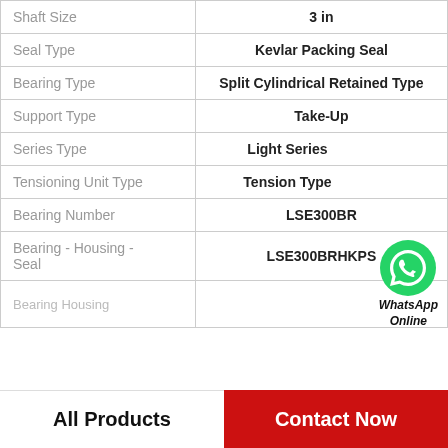| Property | Value |
| --- | --- |
| Shaft Size | 3 in |
| Seal Type | Kevlar Packing Seal |
| Bearing Type | Split Cylindrical Retained Type |
| Support Type | Take-Up |
| Series Type | Light Series |
| Tensioning Unit Type | Tension Type |
| Bearing Number | LSE300BR |
| Bearing - Housing - Seal | LSE300BRHKPS |
| Bearing Housing |  |
[Figure (logo): WhatsApp contact button with green phone icon and 'WhatsApp Online' text]
All Products    Contact Now